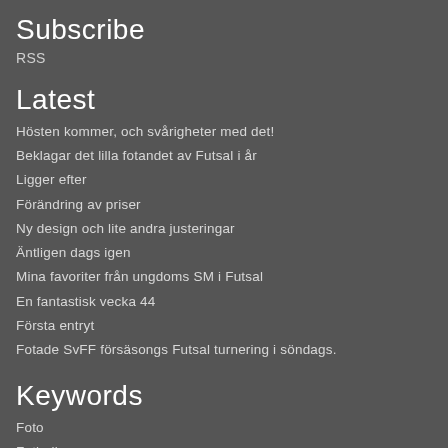Subscribe
RSS
Latest
Hösten kommer, och svårigheter med det!
Beklagar det lilla fotandet av Futsal i år
Ligger efter
Förändring av priser
Ny design och lite andra justeringar
Äntligen dags igen
Mina favoriter från ungdoms SM i Futsal
En fantastisk vecka 44
Första entryt
Fotade SvFF försäsongs Futsal turnering i söndags.
Keywords
Foto
Fotboll
Futsal
Gatufotografering